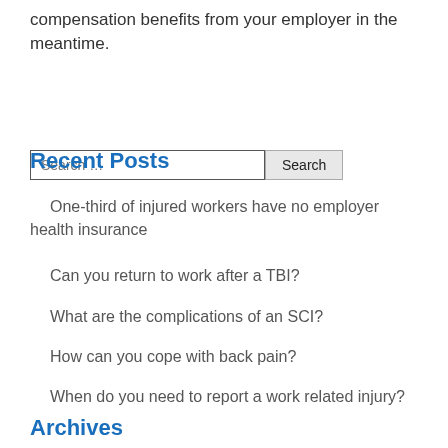compensation benefits from your employer in the meantime.
Recent Posts
One-third of injured workers have no employer health insurance
Can you return to work after a TBI?
What are the complications of an SCI?
How can you cope with back pain?
When do you need to report a work related injury?
Archives